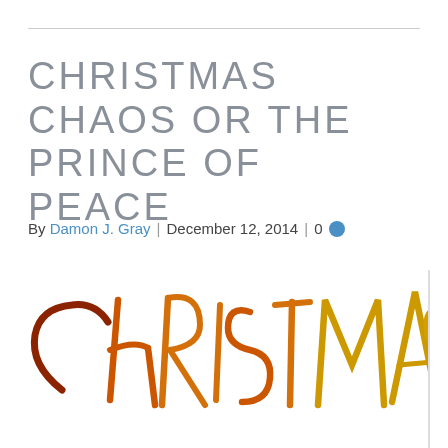CHRISTMAS CHAOS OR THE PRINCE OF PEACE
By Damon J. Gray | December 12, 2014 | 0
[Figure (photo): Hand-lettered word CHRISTMAS in orange-gold and dark brown script on white background, cropped so text extends off the right edge]